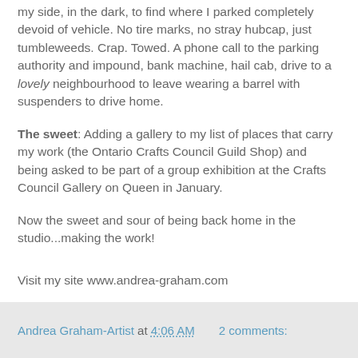my side, in the dark, to find where I parked completely devoid of vehicle. No tire marks, no stray hubcap, just tumbleweeds. Crap. Towed. A phone call to the parking authority and impound, bank machine, hail cab, drive to a lovely neighbourhood to leave wearing a barrel with suspenders to drive home.
The sweet: Adding a gallery to my list of places that carry my work (the Ontario Crafts Council Guild Shop) and being asked to be part of a group exhibition at the Crafts Council Gallery on Queen in January.
Now the sweet and sour of being back home in the studio...making the work!
Visit my site www.andrea-graham.com
Andrea Graham-Artist at 4:06 AM   2 comments: